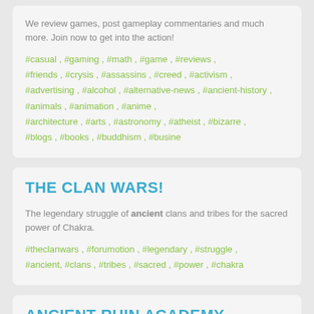We review games, post gameplay commentaries and much more. Join now to get into the action!
#casual , #gaming , #math , #game , #reviews , #friends , #crysis , #assassins , #creed , #activism , #advertising , #alcohol , #alternative-news , #ancient-history , #animals , #animation , #anime , #architecture , #arts , #astronomy , #atheist , #bizarre , #blogs , #books , #buddhism , #busine
THE CLAN WARS!
The legendary struggle of ancient clans and tribes for the sacred power of Chakra.
#theclanwars , #forumotion , #legendary , #struggle , #ancient, #clans , #tribes , #sacred , #power , #chakra
ANCIENT RUIN ACADEMY